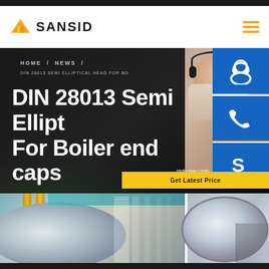[Figure (logo): SANSID company logo with orange/yellow geometric building icon and bold text]
[Figure (screenshot): Dark hero banner with white bold title text reading 'DIN 28013 Semi Elliptical Head For Boiler end caps', breadcrumb navigation HOME / NEWS /, and customer support side panel with 7X24 label, headset icon, phone icon, Skype icon, and Get Latest Price button]
[Figure (photo): Two industrial factory photos showing large semi-elliptical boiler head caps / dished ends in manufacturing facility]